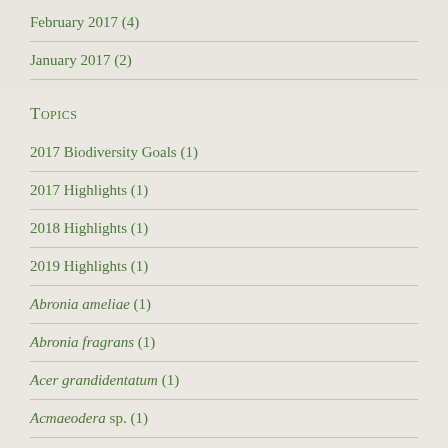February 2017 (4)
January 2017 (2)
Topics
2017 Biodiversity Goals (1)
2017 Highlights (1)
2018 Highlights (1)
2019 Highlights (1)
Abronia ameliae (1)
Abronia fragrans (1)
Acer grandidentatum (1)
Acmaeodera sp. (1)
Actias luna (3)
Actitis macularis (1)